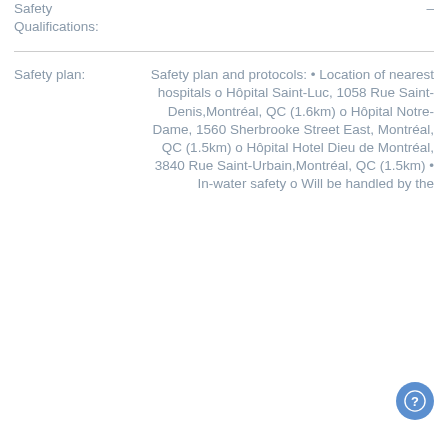Safety Qualifications:
Safety plan: Safety plan and protocols: • Location of nearest hospitals o Hôpital Saint-Luc, 1058 Rue Saint-Denis,Montréal, QC (1.6km) o Hôpital Notre-Dame, 1560 Sherbrooke Street East, Montréal, QC (1.5km) o Hôpital Hotel Dieu de Montréal, 3840 Rue Saint-Urbain,Montréal, QC (1.5km) • In-water safety o Will be handled by the